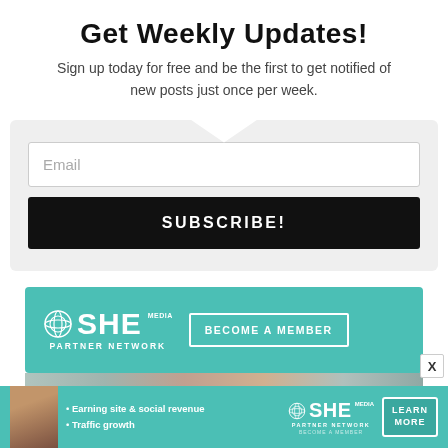Get Weekly Updates!
Sign up today for free and be the first to get notified of new posts just once per week.
[Figure (screenshot): Email subscription form with a text input labeled 'Email' and a black button labeled 'SUBSCRIBE!' on a light gray background with a notch at the top]
[Figure (infographic): SHE Media Partner Network teal banner ad with logo and 'BECOME A MEMBER' button, followed by a strip of people photos]
[Figure (infographic): Bottom teal banner ad for SHE Media Partner Network showing a woman, bullet points 'Earning site & social revenue' and 'Traffic growth', SHE Media logo, and a 'LEARN MORE' button]